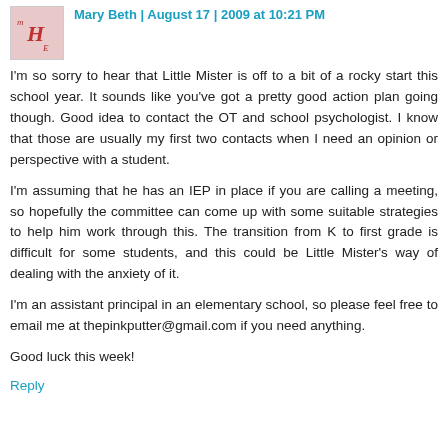Mary Beth | August 17 | 2009 at 10:21 PM
I'm so sorry to hear that Little Mister is off to a bit of a rocky start this school year. It sounds like you've got a pretty good action plan going though. Good idea to contact the OT and school psychologist. I know that those are usually my first two contacts when I need an opinion or perspective with a student.
I'm assuming that he has an IEP in place if you are calling a meeting, so hopefully the committee can come up with some suitable strategies to help him work through this. The transition from K to first grade is difficult for some students, and this could be Little Mister's way of dealing with the anxiety of it.
I'm an assistant principal in an elementary school, so please feel free to email me at thepinkputter@gmail.com if you need anything.
Good luck this week!
Reply